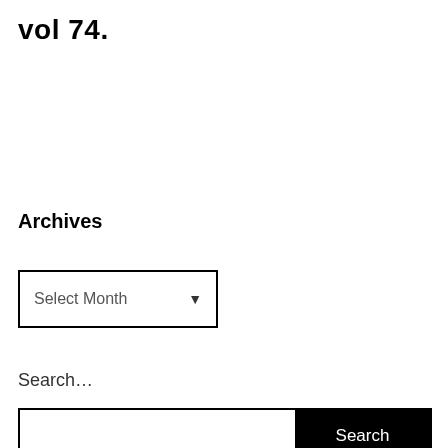vol 74.
Archives
Select Month
Search…
Search